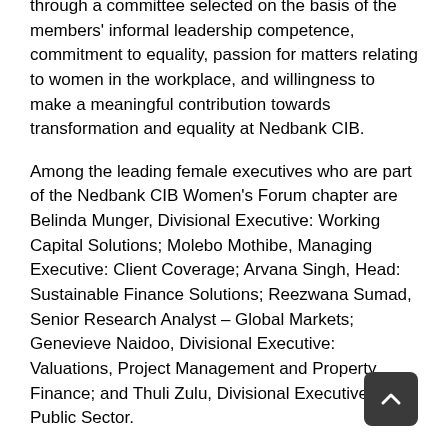through a committee selected on the basis of the members' informal leadership competence, commitment to equality, passion for matters relating to women in the workplace, and willingness to make a meaningful contribution towards transformation and equality at Nedbank CIB.
Among the leading female executives who are part of the Nedbank CIB Women's Forum chapter are Belinda Munger, Divisional Executive: Working Capital Solutions; Molebo Mothibe, Managing Executive: Client Coverage; Arvana Singh, Head: Sustainable Finance Solutions; Reezwana Sumad, Senior Research Analyst – Global Markets; Genevieve Naidoo, Divisional Executive: Valuations, Project Management and Property Finance; and Thuli Zulu, Divisional Executive: Public Sector.
They all acknowledge the importance of not only the Women's Forum but also the significance of Women's Month, which Nedbank uses as an opportunity to